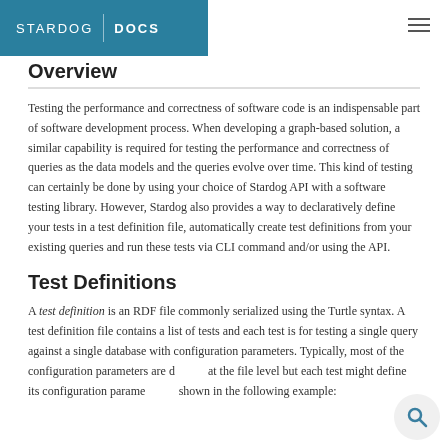STARDOG | DOCS
Overview
Testing the performance and correctness of software code is an indispensable part of software development process. When developing a graph-based solution, a similar capability is required for testing the performance and correctness of queries as the data models and the queries evolve over time. This kind of testing can certainly be done by using your choice of Stardog API with a software testing library. However, Stardog also provides a way to declaratively define your tests in a test definition file, automatically create test definitions from your existing queries and run these tests via CLI command and/or using the API.
Test Definitions
A test definition is an RDF file commonly serialized using the Turtle syntax. A test definition file contains a list of tests and each test is for testing a single query against a single database with configuration parameters. Typically, most of the configuration parameters are defined at the file level but each test might define its configuration parameters as shown in the following example: